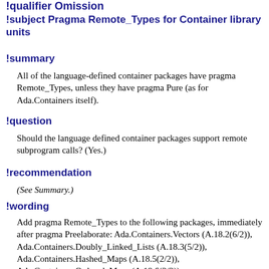!qualifier Omission
!subject Pragma Remote_Types for Container library units
!summary
All of the language-defined container packages have pragma Remote_Types, unless they have pragma Pure (as for Ada.Containers itself).
!question
Should the language defined container packages support remote subprogram calls? (Yes.)
!recommendation
(See Summary.)
!wording
Add pragma Remote_Types to the following packages, immediately after pragma Preelaborate: Ada.Containers.Vectors (A.18.2(6/2)), Ada.Containers.Doubly_Linked_Lists (A.18.3(5/2)), Ada.Containers.Hashed_Maps (A.18.5(2/2)), Ada.Containers.Ordered_Maps (A.18.6(2/2)), Ada.Containers.Hashed_Sets (A.18.8(2/2)), Ada.Containers.Ordered_Sets (A.18.9(2/2)), and Ada.Containers.Indefinite_Holders (A.18.17(5/3)). [From AI05-